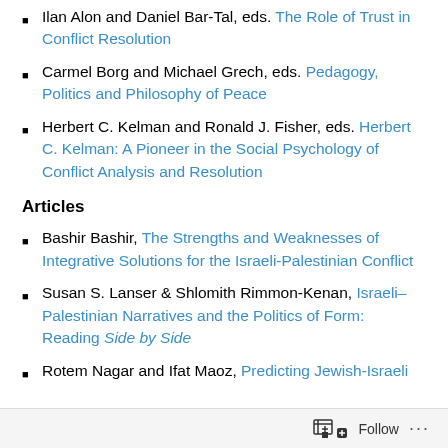Ilan Alon and Daniel Bar-Tal, eds. The Role of Trust in Conflict Resolution
Carmel Borg and Michael Grech, eds. Pedagogy, Politics and Philosophy of Peace
Herbert C. Kelman and Ronald J. Fisher, eds. Herbert C. Kelman: A Pioneer in the Social Psychology of Conflict Analysis and Resolution
Articles
Bashir Bashir, The Strengths and Weaknesses of Integrative Solutions for the Israeli-Palestinian Conflict
Susan S. Lanser & Shlomith Rimmon-Kenan, Israeli–Palestinian Narratives and the Politics of Form: Reading Side by Side
Rotem Nagar and Ifat Maoz, Predicting Jewish-Israeli
Follow